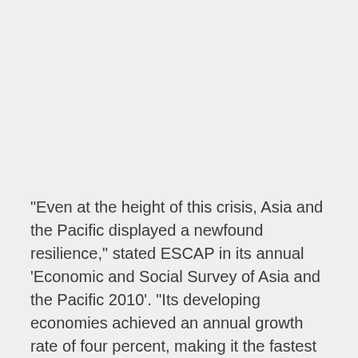“Even at the height of this crisis, Asia and the Pacific displayed a newfound resilience,” stated ESCAP in its annual ‘Economic and Social Survey of Asia and the Pacific 2010’. “Its developing economies achieved an annual growth rate of four percent, making it the fastest